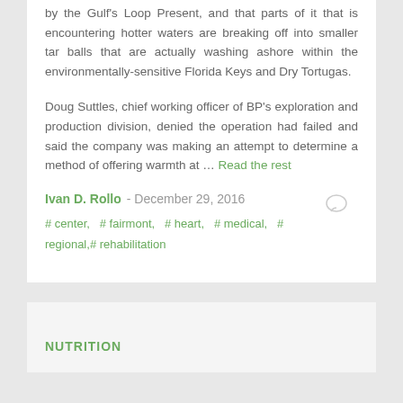by the Gulf's Loop Present, and that parts of it that is encountering hotter waters are breaking off into smaller tar balls that are actually washing ashore within the environmentally-sensitive Florida Keys and Dry Tortugas.
Doug Suttles, chief working officer of BP's exploration and production division, denied the operation had failed and said the company was making an attempt to determine a method of offering warmth at … Read the rest
Ivan D. Rollo - December 29, 2016
# center, # fairmont, # heart, # medical, # regional, # rehabilitation
NUTRITION